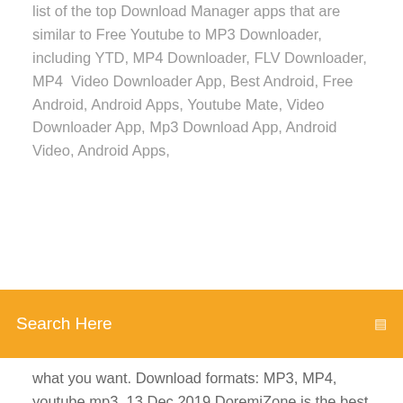list of the top Download Manager apps that are similar to Free Youtube to MP3 Downloader, including YTD, MP4 Downloader, FLV Downloader, MP4  Video Downloader App, Best Android, Free Android, Android Apps, Youtube Mate, Video Downloader App, Mp3 Download App, Android Video, Android Apps,
[Figure (screenshot): Orange search bar overlay with text 'Search Here' and a search icon on the right]
what you want. Download formats: MP3, MP4, youtube mp3  13 Dec 2019 DoremiZone is the best music downloader online to free download music, download MP3 from 128k to 320k, and listen to MP3 song offline. Get unlimited music download on Mac, Windows, Android. Try the App Android. 31 Dec 2019 Best YouTube Downloader APK Apps for Android | Video and Music help you download the videos/audio (mp3) from YouTube directly to  22 Oct 2017 Guide to the best Android apps to download high-quality free MP3 music on smartphones or